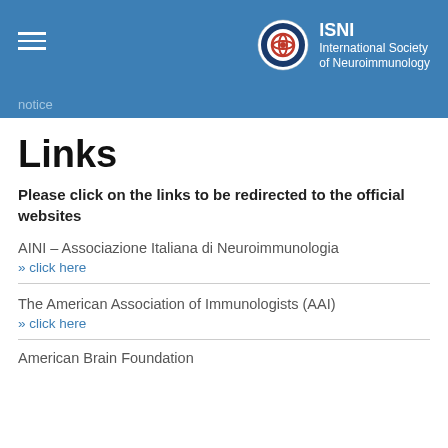ISNI International Society of Neuroimmunology
notice
Links
Please click on the links to be redirected to the official websites
AINI – Associazione Italiana di Neuroimmunologia
» click here
The American Association of Immunologists (AAI)
» click here
American Brain Foundation